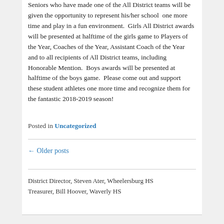Seniors who have made one of the All District teams will be given the opportunity to represent his/her school one more time and play in a fun environment. Girls All District awards will be presented at halftime of the girls game to Players of the Year, Coaches of the Year, Assistant Coach of the Year and to all recipients of All District teams, including Honorable Mention. Boys awards will be presented at halftime of the boys game. Please come out and support these student athletes one more time and recognize them for the fantastic 2018-2019 season!
Posted in Uncategorized
← Older posts
District Director, Steven Ater, Wheelersburg HS
Treasurer, Bill Hoover, Waverly HS